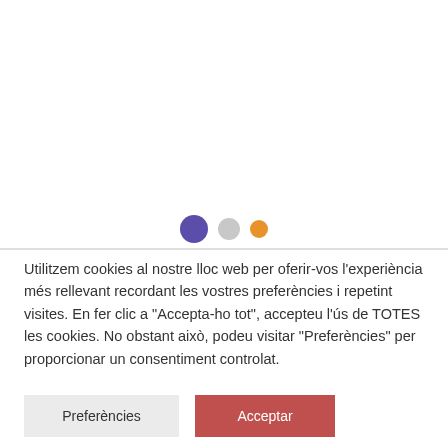[Figure (other): Loading spinner or carousel dots: one large purple filled circle, one medium gray filled circle, one small orange filled circle, arranged horizontally in the upper/middle portion of the page.]
Utilitzem cookies al nostre lloc web per oferir-vos l'experiència més rellevant recordant les vostres preferències i repetint visites. En fer clic a "Accepta-ho tot", accepteu l'ús de TOTES les cookies. No obstant això, podeu visitar "Preferències" per proporcionar un consentiment controlat.
Preferències
Acceptar